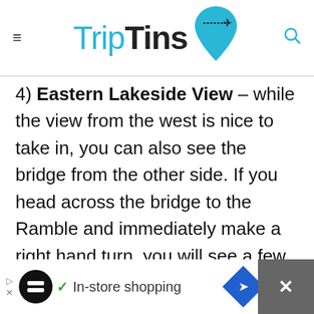TripTins
4) Eastern Lakeside View – while the view from the west is nice to take in, you can also see the bridge from the other side. If you head across the bridge to the Ramble and immediately make a right hand turn, you will see a few areas on the lakeside to snap some photos.
[Figure (screenshot): Advertisement bar at bottom: black background with white inner section showing a circular black icon, checkmark, 'In-store shopping' text, blue diamond arrow icon, and grey section with X on right side.]